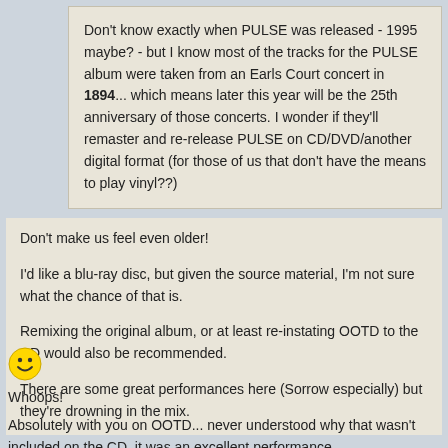Don't know exactly when PULSE was released - 1995 maybe? - but I know most of the tracks for the PULSE album were taken from an Earls Court concert in 1894... which means later this year will be the 25th anniversary of those concerts. I wonder if they'll remaster and re-release PULSE on CD/DVD/another digital format (for those of us that don't have the means to play vinyl??)
Don't make us feel even older!
I'd like a blu-ray disc, but given the source material, I'm not sure what the chance of that is.
Remixing the original album, or at least re-instating OOTD to the CD would also be recommended.
There are some great performances here (Sorrow especially) but they're drowning in the mix.
[Figure (illustration): Yellow smiley face emoji icon]
Whoops!
Absolutely with you on OOTD... never understood why that wasn't included on the CD, it was an excellent performance.